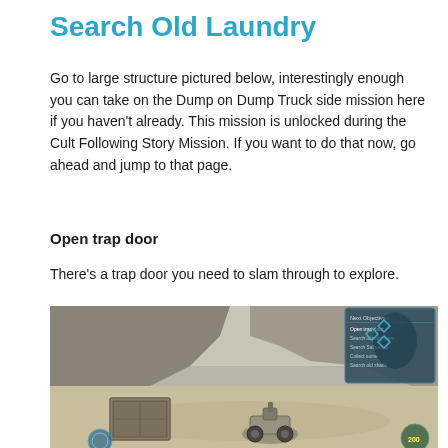Search Old Laundry
Go to large structure pictured below, interestingly enough you can take on the Dump on Dump Truck side mission here if you haven't already. This mission is unlocked during the Cult Following Story Mission. If you want to do that now, go ahead and jump to that page.
Open trap door
There's a trap door you need to slam through to explore.
[Figure (screenshot): In-game screenshot showing a desert wasteland environment with rocky cliffs, a small combat buggy vehicle in the center, a trap door on the ground to the left, and a quest objectives HUD panel in the upper right corner showing mission tasks including 'Open trap door', 'Search laundry room', 'Search Sal's shop', 'Collect some', 'Search old shack'.]